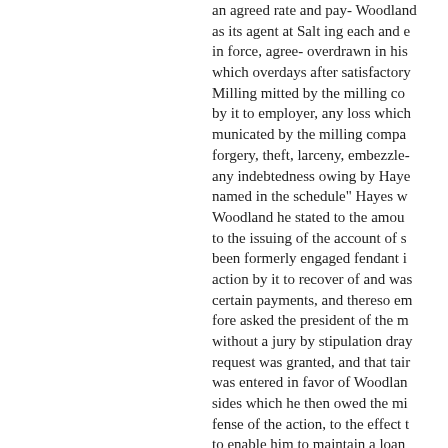an agreed rate and pay- Woodland as its agent at Salt ing each and e in force, agree- overdrawn in his which overdays after satisfactory Milling mitted by the milling co by it to employer, any loss which municated by the milling compa forgery, theft, larceny, embezzle- any indebtedness owing by Haye named in the schedule" Hayes wa Woodland he stated to the amou to the issuing of the account of s been formerly engaged fendant i action by it to recover of and wa certain payments, and thereso em fore asked the president of the m without a jury by stipulation dra request was granted, and that tai was entered in favor of Woodlan sides which he then owed the mi fense of the action, to the effect t to enable him to maintain a loan